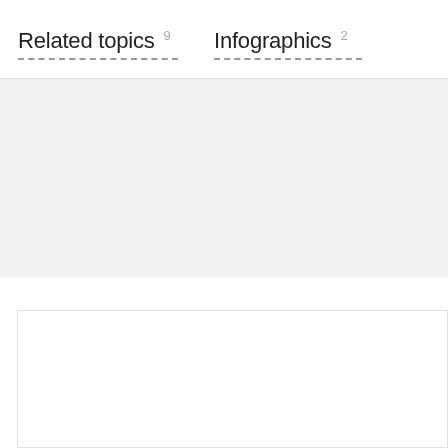Related topics 9
Infographics 2
[Figure (other): Gray background section, empty content area]
[Figure (other): White card/panel area at the bottom]